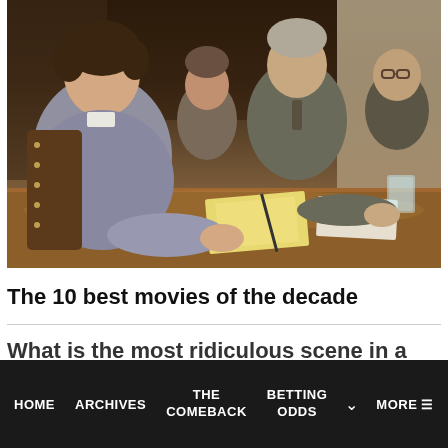[Figure (photo): A movie still showing people seated around a conference table in a dark wood-paneled room. A young man in a grey hoodie is visible on the left, with several adults in business attire seated at the table.]
The 10 best movies of the decade
What is the most ridiculous scene in a
HOME  ARCHIVES  THE COMEBACK  BETTING ODDS  MORE